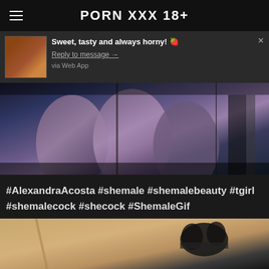PORN XXX 18+
Sweet, tasty and always horny! 🍓
Reply to message →
via Web App
[Figure (photo): Main content image with dark blue and purple tones showing legs]
#AlexandraAcosta #shemale #shemalebeauty #tgirl #shemalecock #shecock #ShemaleGif
[Figure (photo): Partial image showing beige/tan and black fabric with bow detail]